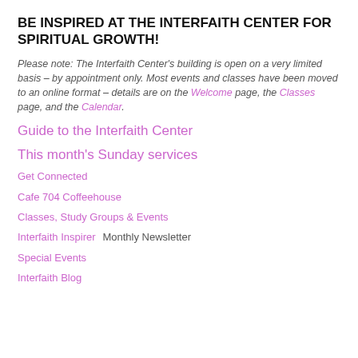BE INSPIRED AT THE INTERFAITH CENTER FOR SPIRITUAL GROWTH!
Please note: The Interfaith Center's building is open on a very limited basis – by appointment only. Most events and classes have been moved to an online format – details are on the Welcome page, the Classes page, and the Calendar.
Guide to the Interfaith Center
This month's Sunday services
Get Connected
Cafe 704 Coffeehouse
Classes, Study Groups & Events
Interfaith Inspirer  Monthly Newsletter
Special Events
Interfaith Blog